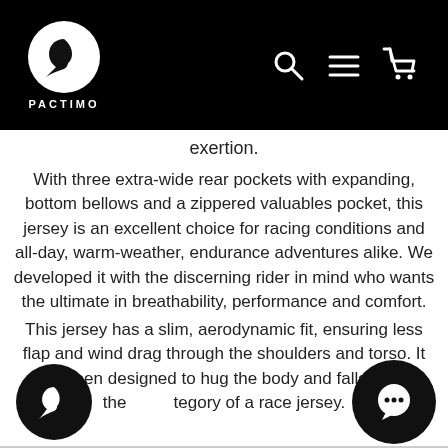[Figure (logo): Pactimo logo: white circle with black bird/wing mark, text PACTIMO below, on black header bar with search, menu, and cart icons]
exertion.
With three extra-wide rear pockets with expanding, bottom bellows and a zippered valuables pocket, this jersey is an excellent choice for racing conditions and all-day, warm-weather, endurance adventures alike. We developed it with the discerning rider in mind who wants the ultimate in breathability, performance and comfort.
This jersey has a slim, aerodynamic fit, ensuring less flap and wind drag through the shoulders and torso. It has been designed to hug the body and falls within the category of a race jersey.